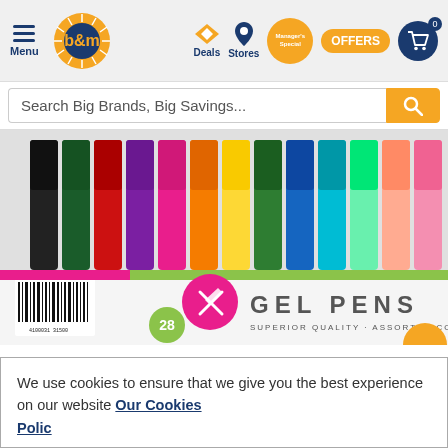[Figure (screenshot): B&M store website navigation bar with logo, menu, Deals, Stores, Manager's Special, Offers, and cart icon]
[Figure (screenshot): Search bar with placeholder text 'Search Big Brands, Big Savings...' and orange search button]
[Figure (photo): Product photo of a pack of 28 Gel Pens in assorted colours, showing colourful pens with caps in a clear plastic case with branded packaging reading GEL PENS SUPERIOR QUALITY ASSORTED COLOURS]
We use cookies to ensure that we give you the best experience on our website Our Cookies Policy